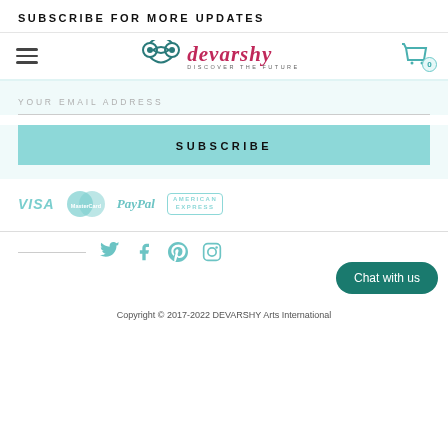SUBSCRIBE FOR MORE UPDATES
[Figure (logo): Devarshy Arts International logo with decorative symbol and stylized text]
YOUR EMAIL ADDRESS
SUBSCRIBE
[Figure (infographic): Payment logos: VISA, MasterCard, PayPal, American Express]
[Figure (infographic): Social media icons: Twitter, Facebook, Pinterest, Instagram, with Chat with us button]
Copyright © 2017-2022 DEVARSHY Arts International